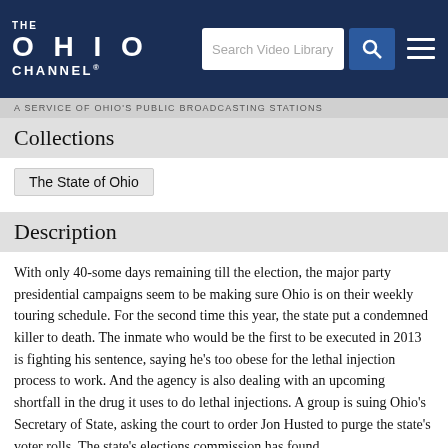THE OHIO CHANNEL
A SERVICE OF OHIO'S PUBLIC BROADCASTING STATIONS
Collections
The State of Ohio
Description
With only 40-some days remaining till the election, the major party presidential campaigns seem to be making sure Ohio is on their weekly touring schedule. For the second time this year, the state put a condemned killer to death. The inmate who would be the first to be executed in 2013 is fighting his sentence, saying he's too obese for the lethal injection process to work. And the agency is also dealing with an upcoming shortfall in the drug it uses to do lethal injections. A group is suing Ohio's Secretary of State, asking the court to order Jon Husted to purge the state's voter rolls. The state's elections commission has found probable cause that a radio commentator of the